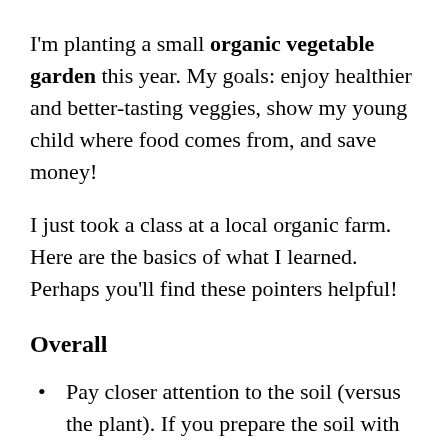I'm planting a small organic vegetable garden this year. My goals: enjoy healthier and better-tasting veggies, show my young child where food comes from, and save money!
I just took a class at a local organic farm. Here are the basics of what I learned. Perhaps you'll find these pointers helpful!
Overall
Pay closer attention to the soil (versus the plant). If you prepare the soil with “organic matter” such as compost and manure, your soil will feed the plants the nutrients they need.
Control pests and diseases without chemicals by giving your plants a heartier start, mulching, and